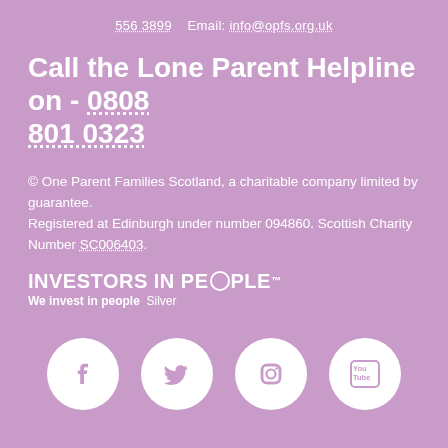556 3899   Email: info@opfs.org.uk
Call the Lone Parent Helpline on - 0808 801 0323
© One Parent Families Scotland, a charitable company limited by guarantee. Registered at Edinburgh under number 094860. Scottish Charity Number SC006403.
[Figure (logo): Investors in People logo with 'We invest in people Silver' text]
[Figure (infographic): Social media icons row: Facebook, Twitter, Instagram, YouTube — white circles on purple background]